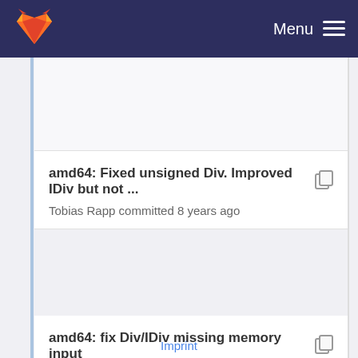Menu
amd64: Fixed unsigned Div. Improved IDiv but not ...
Tobias Rapp committed 8 years ago
amd64: fix Div/IDiv missing memory input
Matthias Braun committed 7 years ago
Imprint